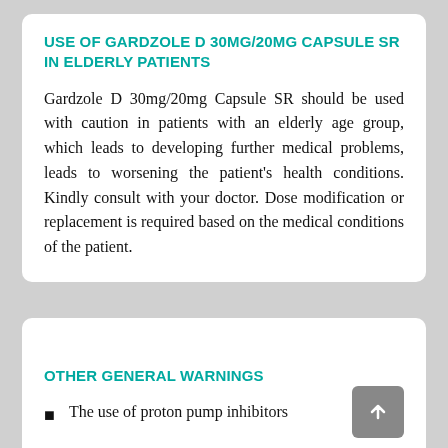USE OF GARDZOLE D 30MG/20MG CAPSULE SR IN ELDERLY PATIENTS
Gardzole D 30mg/20mg Capsule SR should be used with caution in patients with an elderly age group, which leads to developing further medical problems, leads to worsening the patient's health conditions. Kindly consult with your doctor. Dose modification or replacement is required based on the medical conditions of the patient.
OTHER GENERAL WARNINGS
The use of proton pump inhibitors